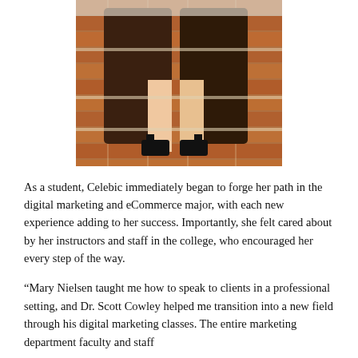[Figure (photo): Two people wearing brown graduation gowns sitting on brick steps, wearing black high-heeled sandals. The photo shows them from approximately waist/legs down.]
As a student, Celebic immediately began to forge her path in the digital marketing and eCommerce major, with each new experience adding to her success. Importantly, she felt cared about by her instructors and staff in the college, who encouraged her every step of the way.
“Mary Nielsen taught me how to speak to clients in a professional setting, and Dr. Scott Cowley helped me transition into a new field through his digital marketing classes. The entire marketing department faculty and staff